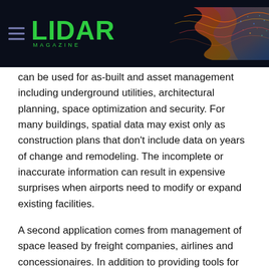LIDAR MAGAZINE
can be used for as-built and asset management including underground utilities, architectural planning, space optimization and security. For many buildings, spatial data may exist only as construction plans that don't include data on years of change and remodeling. The incomplete or inaccurate information can result in expensive surprises when airports need to modify or expand existing facilities.
A second application comes from management of space leased by freight companies, airlines and concessionaires. In addition to providing tools for managing tenant agreements and payments...